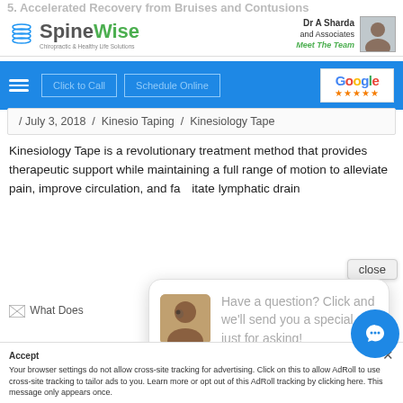5. Accelerated Recovery from Bruises and Contusions
[Figure (logo): SpineWise logo with green and grey icon and text]
Dr A Sharda and Associates
Meet The Team
[Figure (photo): Photo of Dr A Sharda]
[Figure (screenshot): Navigation bar with hamburger menu, Click to Call button, Schedule Online button, and Google reviews widget]
/ July 3, 2018 / Kinesio Taping / Kinesiology Tape
Kinesiology Tape is a revolutionary treatment method that provides therapeutic support while maintaining a full range of motion to alleviate pain, improve circulation, and facilitate lymphatic drain
[Figure (photo): Chat popup: avatar of woman with headset, text: Have a question? Click and we'll send you a special just for asking!]
[Figure (other): Broken image placeholder labeled: What Does]
Accept
Your browser settings do not allow cross-site tracking for advertising. Click on this to allow AdRoll to use cross-site tracking to tailor ads to you. Learn more or opt out of this AdRoll tracking by clicking here. This message only appears once.